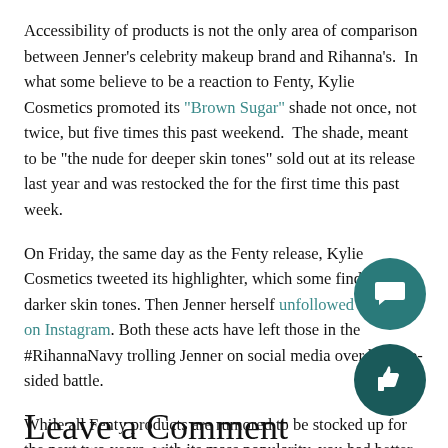Accessibility of products is not the only area of comparison between Jenner's celebrity makeup brand and Rihanna's.  In what some believe to be a reaction to Fenty, Kylie Cosmetics promoted its "Brown Sugar" shade not once, not twice, but five times this past weekend.  The shade, meant to be "the nude for deeper skin tones" sold out at its release last year and was restocked the for the first time this past week.
On Friday, the same day as the Fenty release, Kylie Cosmetics tweeted its highlighter, which some find unfit for darker skin tones. Then Jenner herself unfollowed Rihanna on Instagram. Both these acts have left those in the #RihannaNavy trolling Jenner on social media over her one-sided battle.
While all Fenty products are rumored to be stocked up for the next two years, with its mass popularity, you had better act quickly if you want a #fentyface.
Leave a Comment